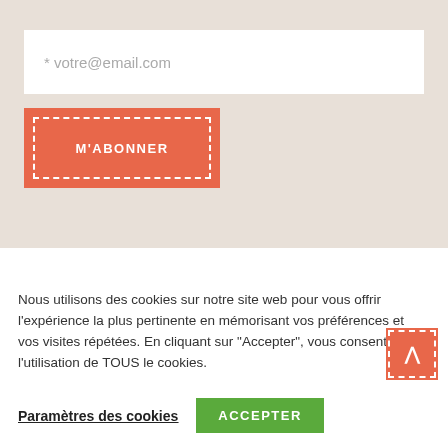* votre@email.com
M'ABONNER
Nous utilisons des cookies sur notre site web pour vous offrir l'expérience la plus pertinente en mémorisant vos préférences et vos visites répétées. En cliquant sur "Accepter", vous consentez à l'utilisation de TOUS le cookies.
Paramètres des cookies
ACCEPTER